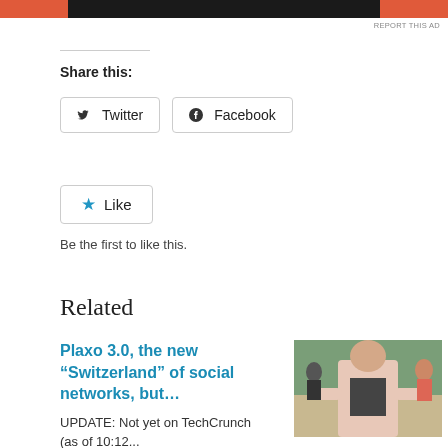[Figure (other): Advertisement banner bar with orange-red sections on left and right, dark/black center section, with 'REPORT THIS AD' text link at top right]
REPORT THIS AD
Share this:
Twitter
Facebook
Like
Be the first to like this.
Related
Plaxo 3.0, the new “Switzerland” of social networks, but…
UPDATE: Not yet on TechCrunch (as of 10:12...
[Figure (photo): Photo of a person wearing a light pink blazer and dark shirt, standing with arms slightly raised, in what appears to be an event or conference setting with people in the background]
Will the real Michael Arrington please